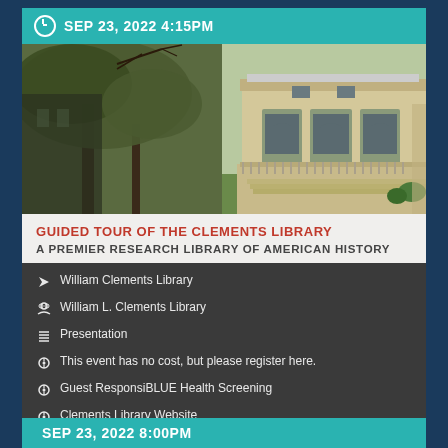SEP 23, 2022 4:15PM
[Figure (photo): Exterior photo of William L. Clements Library building on University of Michigan campus, showing classical architecture with arched windows and a large tree in foreground]
GUIDED TOUR OF THE CLEMENTS LIBRARY
A PREMIER RESEARCH LIBRARY OF AMERICAN HISTORY
William Clements Library
William L. Clements Library
Presentation
This event has no cost, but please register here.
Guest ResponsiBLUE Health Screening
Clements Library Website
SEP 23, 2022 8:00PM